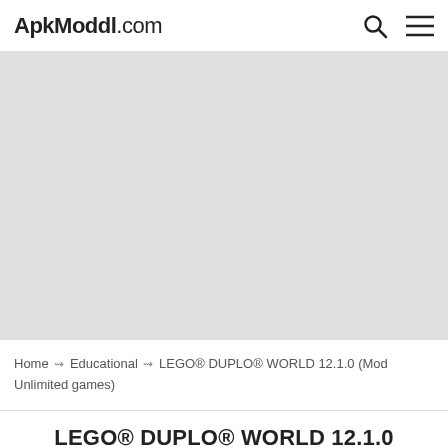ApkModdl.com
[Figure (other): Gray placeholder/advertisement area]
Home ⇝ Educational ⇝ LEGO® DUPLO® WORLD 12.1.0 (Mod Unlimited games)
LEGO® DUPLO® WORLD 12.1.0